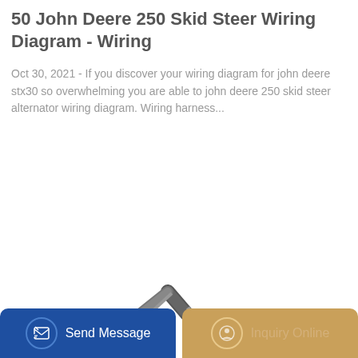50 John Deere 250 Skid Steer Wiring Diagram - Wiring
Oct 30, 2021 - If you discover your wiring diagram for john deere stx30 so overwhelming you are able to john deere 250 skid steer alternator wiring diagram. Wiring harness...
[Figure (illustration): Yellow XCMG excavator with articulated arm and bucket, shown on white background]
[Figure (other): Bottom navigation bar with two buttons: Send Message (blue) and Inquiry Online (tan/gold)]